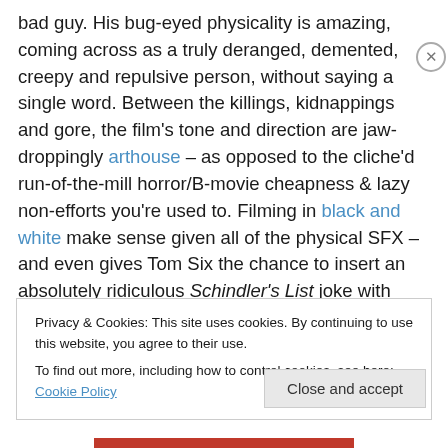bad guy. His bug-eyed physicality is amazing, coming across as a truly deranged, demented, creepy and repulsive person, without saying a single word. Between the killings, kidnappings and gore, the film's tone and direction are jaw-droppingly arthouse – as opposed to the cliche'd run-of-the-mill horror/B-movie cheapness & lazy non-efforts you're used to. Filming in black and white make sense given all of the physical SFX – and even gives Tom Six the chance to insert an absolutely ridiculous Schindler's List joke with dark orange projectile diarrhea. In the end. The Human Centipede 2 it's made by
Privacy & Cookies: This site uses cookies. By continuing to use this website, you agree to their use.
To find out more, including how to control cookies, see here: Cookie Policy